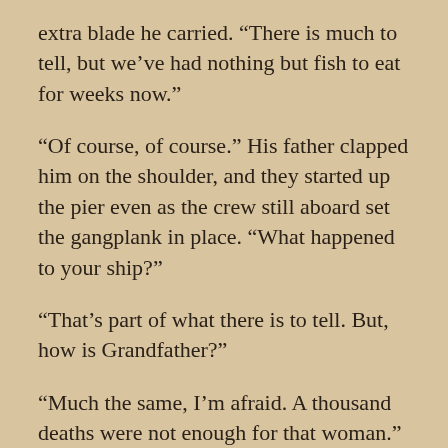extra blade he carried. “There is much to tell, but we’ve had nothing but fish to eat for weeks now.”
“Of course, of course.” His father clapped him on the shoulder, and they started up the pier even as the crew still aboard set the gangplank in place. “What happened to your ship?”
“That’s part of what there is to tell. But, how is Grandfather?”
“Much the same, I’m afraid. A thousand deaths were not enough for that woman.”
Einarr hummed his agreement. “I feel like we ought to thank him, though, for leaving